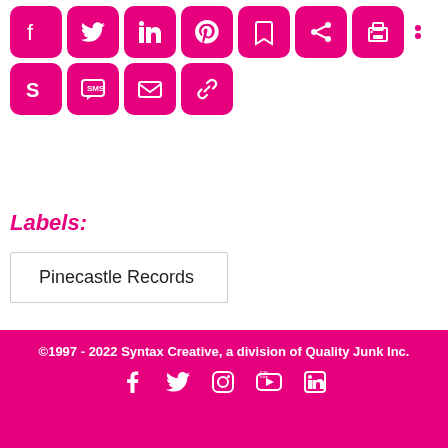[Figure (infographic): Two rows of pink rounded-square social media sharing icons: Facebook, Twitter, LinkedIn, Pinterest, email/share icons in top row; Skype, SMS, email, link icons in second row]
Labels:
Pinecastle Records
©1997 - 2022 Syntax Creative, a division of Quality Junk Inc.